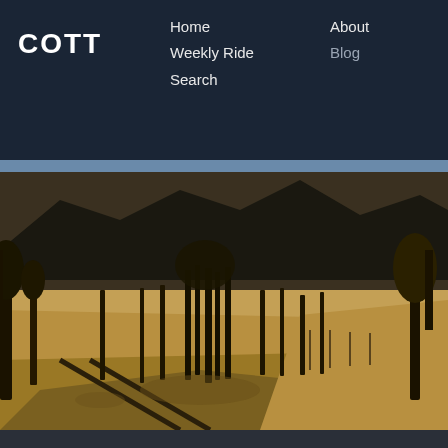COTT | Home | Weekly Ride | Search | About | Blog
[Figure (photo): Desert landscape with Joshua trees, burned/dead trees, sandy soil, and a dark mountain ridge in the background. Late afternoon light casts long shadows.]
[Figure (photo): Partial view of a desert landscape with blue sky, light clouds, and rocky terrain in the lower portion.]